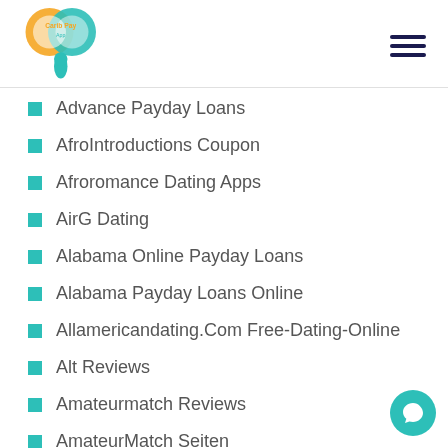Carib Pay App
Advance Payday Loans
AfroIntroductions Coupon
Afroromance Dating Apps
AirG Dating
Alabama Online Payday Loans
Alabama Payday Loans Online
Allamericandating.Com Free-Dating-Online
Alt Reviews
Amateurmatch Reviews
AmateurMatch Seiten
America Advance Payday Loan